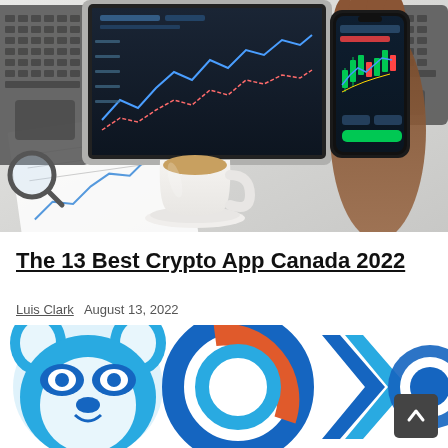[Figure (photo): Photo of a hand holding a smartphone displaying a crypto trading chart with candlestick patterns, in front of an open laptop on a desk with a coffee cup, papers, and a magnifying glass. White desk background.]
The 13 Best Crypto App Canada 2022
Luis Clark   August 13, 2022
[Figure (illustration): Colorful illustration showing crypto app logos including a blue raccoon, a blue circular logo, blue chevron arrows, and a partial blue number or letter, all in shades of blue, orange and white.]